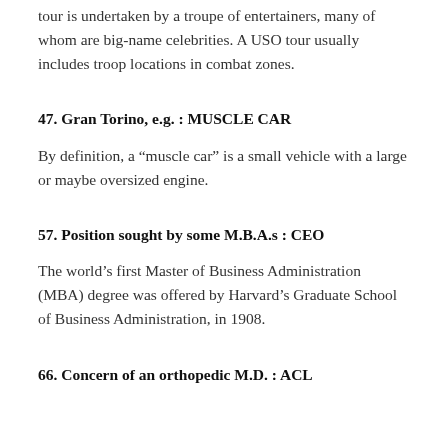tour is undertaken by a troupe of entertainers, many of whom are big-name celebrities. A USO tour usually includes troop locations in combat zones.
47. Gran Torino, e.g. : MUSCLE CAR
By definition, a “muscle car” is a small vehicle with a large or maybe oversized engine.
57. Position sought by some M.B.A.s : CEO
The world’s first Master of Business Administration (MBA) degree was offered by Harvard’s Graduate School of Business Administration, in 1908.
66. Concern of an orthopedic M.D. : ACL